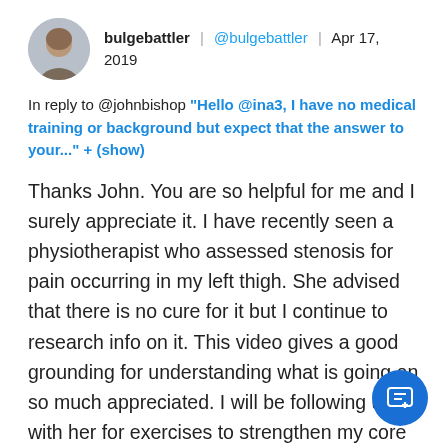bulgebattler | @bulgebattler | Apr 17, 2019
In reply to @johnbishop "Hello @ina3, I have no medical training or background but expect that the answer to your..." + (show)
Thanks John. You are so helpful for me and I surely appreciate it. I have recently seen a physiotherapist who assessed stenosis for pain occurring in my left thigh. She advised that there is no cure for it but I continue to research info on it. This video gives a good grounding for understanding what is going on so much appreciated. I will be following up with her for exercises to strengthen my core muscles as I also have 2 hernias in my stomach area and a couple of herniated